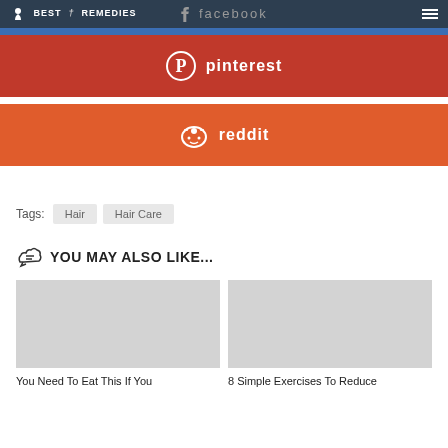BEST REMEDIES | facebook
[Figure (other): Pinterest share button (red background with Pinterest logo icon and text 'pinterest')]
[Figure (other): Reddit share button (orange-red background with Reddit alien icon and text 'reddit')]
Tags: Hair   Hair Care
YOU MAY ALSO LIKE...
[Figure (photo): Placeholder image (light gray) for article 'You Need To Eat This If You']
[Figure (photo): Placeholder image (light gray) for article '8 Simple Exercises To Reduce']
You Need To Eat This If You
8 Simple Exercises To Reduce